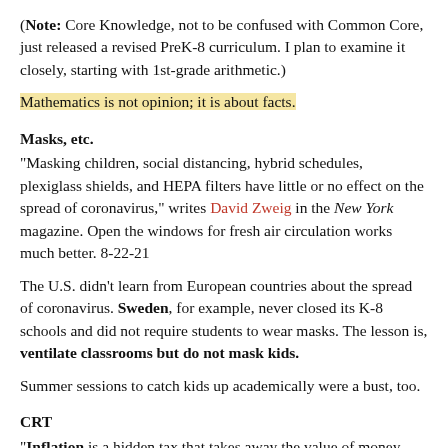(Note: Core Knowledge, not to be confused with Common Core, just released a revised PreK-8 curriculum. I plan to examine it closely, starting with 1st-grade arithmetic.)
Mathematics is not opinion; it is about facts.
Masks, etc.
"Masking children, social distancing, hybrid schedules, plexiglass shields, and HEPA filters have little or no effect on the spread of coronavirus," writes David Zweig in the New York magazine. Open the windows for fresh air circulation works much better. 8-22-21
The U.S. didn't learn from European countries about the spread of coronavirus. Sweden, for example, never closed its K-8 schools and did not require students to wear masks. The lesson is, ventilate classrooms but do not mask kids.
Summer sessions to catch kids up academically were a bust, too.
CRT
"Inflation is a hidden tax that takes away the value of money held by everyone at every income level," writes Thomas